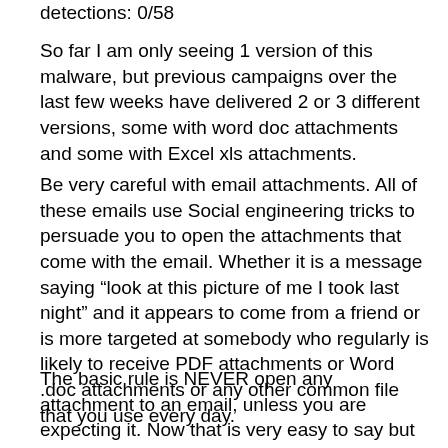detections: 0/58
So far I am only seeing 1 version of this malware, but previous campaigns over the last few weeks have delivered 2 or 3 different versions, some with word doc attachments and some with Excel xls attachments.
Be very careful with email attachments. All of these emails use Social engineering tricks to persuade you to open the attachments that come with the email. Whether it is a message saying “look at this picture of me I took last night” and it appears to come from a friend or is more targeted at somebody who regularly is likely to receive PDF attachments or Word .doc attachments or any other common file that you use every day.
The basic rule is NEVER open any attachment to an email, unless you are expecting it. Now that is very easy to say but quite hard to put into practice, because we